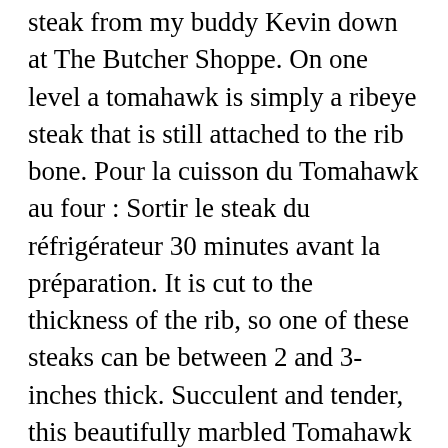steak from my buddy Kevin down at The Butcher Shoppe. On one level a tomahawk is simply a ribeye steak that is still attached to the rib bone. Pour la cuisson du Tomahawk au four : Sortir le steak du réfrigérateur 30 minutes avant la préparation. It is cut to the thickness of the rib, so one of these steaks can be between 2 and 3-inches thick. Succulent and tender, this beautifully marbled Tomahawk Steak is one of the largest steaks available -and with its French-trimmed rib bone attached, it's as dramatic-looking at it is delicious. As with any meat processing, what is done to the carcass immediately after the kill is vitally important. For the oven-baked tomahawk steak : Remove the steak from the